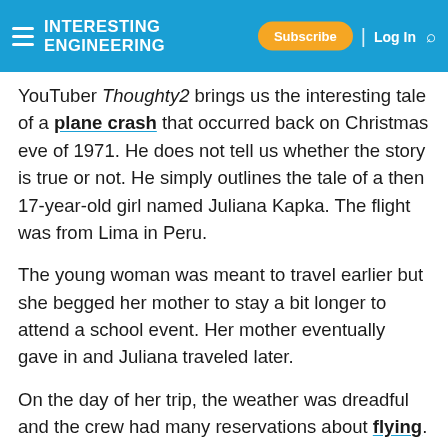Interesting Engineering — Subscribe | Log In
YouTuber Thoughty2 brings us the interesting tale of a plane crash that occurred back on Christmas eve of 1971. He does not tell us whether the story is true or not. He simply outlines the tale of a then 17-year-old girl named Juliana Kapka. The flight was from Lima in Peru.
The young woman was meant to travel earlier but she begged her mother to stay a bit longer to attend a school event. Her mother eventually gave in and Juliana traveled later.
On the day of her trip, the weather was dreadful and the crew had many reservations about flying. But due to the grueling seasonal schedule, they decided to go